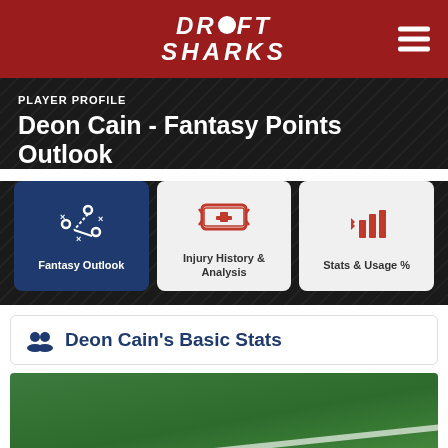DRAFT SHARKS
PLAYER PROFILE
Deon Cain - Fantasy Points Outlook
[Figure (infographic): Three navigation tab buttons: Fantasy Outlook (active, dark blue background with play diagram icon), Injury History & Analysis (light gray with medical cross icon), Stats & Usage % (light gray with bar chart icon)]
Deon Cain's Basic Stats
[Figure (photo): Green football field turf with white yard line marking visible]